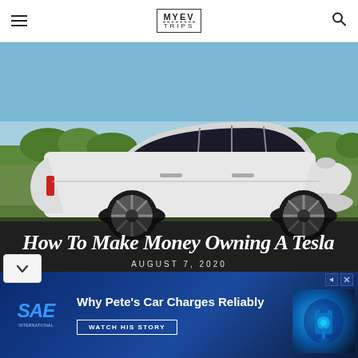MYEV TRIPS
[Figure (photo): White Tesla Model X SUV parked on a rural road with green fields and trees in the background under a blue sky. Overlaid text reads 'How To Make Money Owning A Tesla' and 'AUGUST 7, 2020'.]
How To Make Money Owning A Tesla
AUGUST 7, 2020
[Figure (screenshot): Advertisement banner for SAE with text 'Why Pete's Car Charges Reliably' and a 'WATCH HIS STORY' call-to-action button, with an image of a car charging connector on the right.]